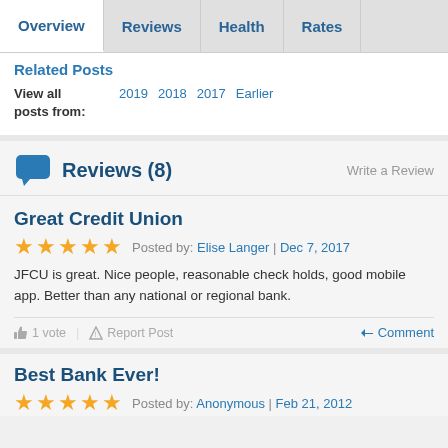Overview | Reviews | Health | Rates
Related Posts
View all posts from: 2019 2018 2017 Earlier
Reviews (8)
Great Credit Union
★★★★★ Posted by: Elise Langer | Dec 7, 2017
JFCU is great. Nice people, reasonable check holds, good mobile app. Better than any national or regional bank.
1 vote | Report Post | Comment
Best Bank Ever!
★★★★★ Posted by: Anonymous | Feb 21, 2012